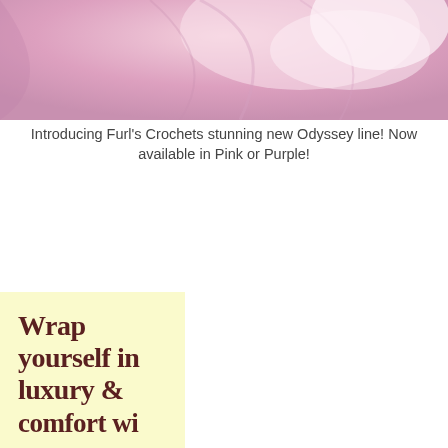[Figure (photo): Close-up photo of pink or purple silky/satiny fabric with soft folds and highlights, partially cropped at top of page.]
Introducing Furl's Crochets stunning new Odyssey line! Now available in Pink or Purple!
[Figure (illustration): Light yellow/cream colored box in the bottom-left corner containing large dark brown serif text reading 'Wrap yourself in luxury &' with additional text cut off at bottom.]